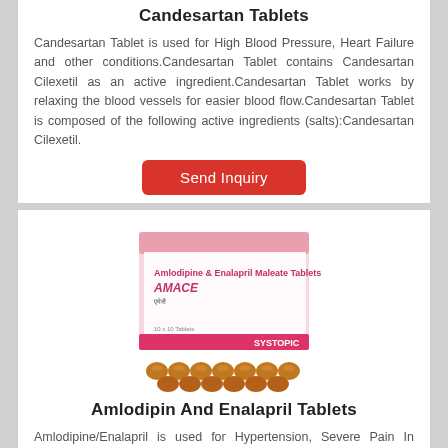Candesartan Tablets
Candesartan Tablet is used for High Blood Pressure, Heart Failure and other conditions.Candesartan Tablet contains Candesartan Cilexetil as an active ingredient.Candesartan Tablet works by relaxing the blood vessels for easier blood flow.Candesartan Tablet is composed of the following active ingredients (salts):Candesartan Cilexetil.
[Figure (photo): Red Send Inquiry button]
[Figure (photo): Photo of Amlodipine & Enalapril Maleate Tablets AMACE product box with blister pills, Systopic brand]
Amlodipin And Enalapril Tablets
Amlodipine/Enalapril is used for Hypertension, Severe Pain In Chest, High Blood Pressure, Heart Failure, Left Ventricular Dysfunction and other conditions.Amlodipine/Enalapril is used for...